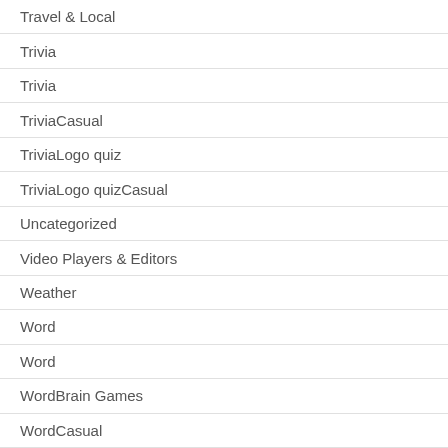Travel & Local
Trivia
Trivia
TriviaCasual
TriviaLogo quiz
TriviaLogo quizCasual
Uncategorized
Video Players & Editors
Weather
Word
Word
WordBrain Games
WordCasual